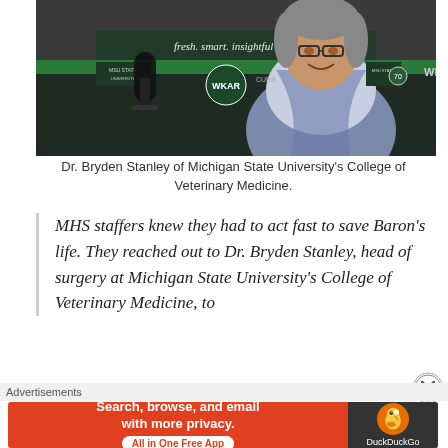[Figure (photo): Photo of Dr. Bryden Stanley at a WKAR Michigan State University radio studio, wearing glasses and a blue and white scarf, smiling. Studio equipment including a microphone visible, green accent lighting on the desk.]
Dr. Bryden Stanley of Michigan State University's College of Veterinary Medicine.
MHS staffers knew they had to act fast to save Baron's life. They reached out to Dr. Bryden Stanley, head of surgery at Michigan State University's College of Veterinary Medicine, to
Advertisements
[Figure (screenshot): DuckDuckGo advertisement banner: orange/red background on left with text 'Search, browse, and email with more privacy. All in One Free App', dark background on right with DuckDuckGo duck logo and DuckDuckGo text.]